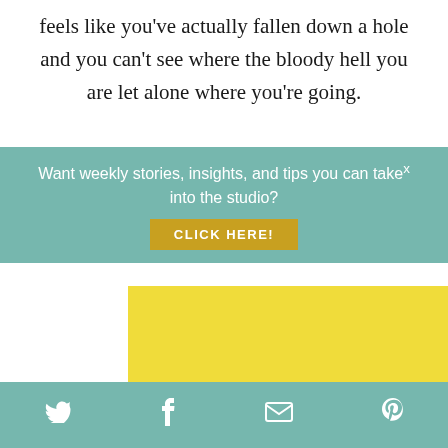feels like you've actually fallen down a hole and you can't see where the bloody hell you are let alone where you're going.
Want weekly stories, insights, and tips you can take into the studio?
CLICK HERE!
[Figure (photo): Artwork photo showing painting with pink/red house shapes on yellow background with blue circular swirl and keys motif]
This website uses cookies to improve your experience. By continuing to use this site, you agree to our use of
Twitter  Facebook  Email  Pinterest